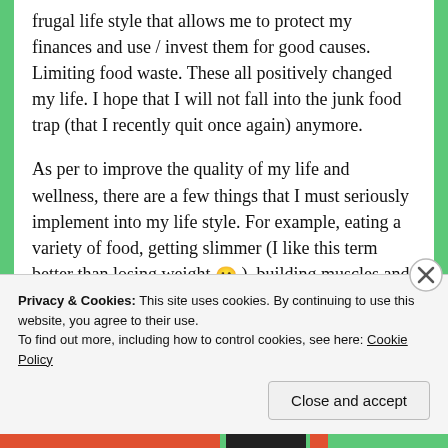frugal life style that allows me to protect my finances and use / invest them for good causes. Limiting food waste. These all positively changed my life. I hope that I will not fall into the junk food trap (that I recently quit once again) anymore.
As per to improve the quality of my life and wellness, there are a few things that I must seriously implement into my life style. For example, eating a variety of food, getting slimmer (I like this term better than losing weight 🙂 ), building muscles and bones, cardio-health and exercise, and so on. These are among my recurrent New Year Resolutions. But I think it is
Privacy & Cookies: This site uses cookies. By continuing to use this website, you agree to their use.
To find out more, including how to control cookies, see here: Cookie Policy
Close and accept